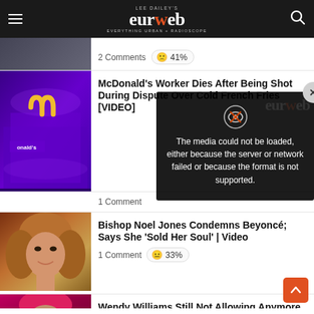LEE DAILEY'S eurweb EVERYTHING URBAN + RADIOSCOPE
2 Comments  41%
McDonald's Worker Dies After Being Shot During Dispute Over Cold French Fries [VIDEO]
1 Comment
[Figure (screenshot): Media error overlay: The media could not be loaded, either because the server or network failed or because the format is not supported.]
Bishop Noel Jones Condemns Beyoncé; Says She 'Sold Her Soul' | Video
1 Comment  33%
Wendy Williams Still Not Allowing Anymore About [MORE]